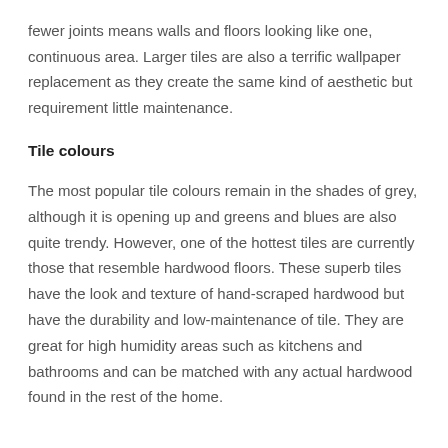fewer joints means walls and floors looking like one, continuous area. Larger tiles are also a terrific wallpaper replacement as they create the same kind of aesthetic but requirement little maintenance.
Tile colours
The most popular tile colours remain in the shades of grey, although it is opening up and greens and blues are also quite trendy. However, one of the hottest tiles are currently those that resemble hardwood floors. These superb tiles have the look and texture of hand-scraped hardwood but have the durability and low-maintenance of tile. They are great for high humidity areas such as kitchens and bathrooms and can be matched with any actual hardwood found in the rest of the home.